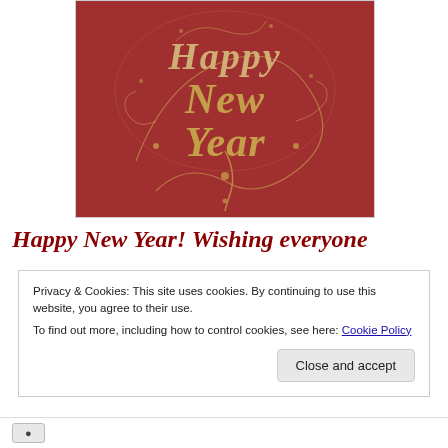[Figure (photo): Happy New Year greeting card image on a deep red/crimson background with ornate gold decorative calligraphy text reading 'Happy New Year' with swirling flourishes and dots.]
Happy New Year! Wishing everyone
Privacy & Cookies: This site uses cookies. By continuing to use this website, you agree to their use.
To find out more, including how to control cookies, see here: Cookie Policy
Close and accept